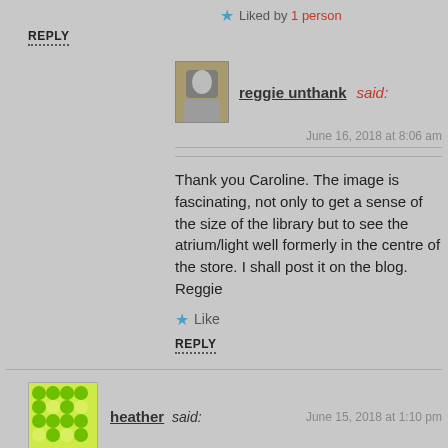★ Liked by 1 person
REPLY
reggie unthank said:
June 16, 2018 at 8:06 am
Thank you Caroline. The image is fascinating, not only to get a sense of the size of the library but to see the atrium/light well formerly in the centre of the store. I shall post it on the blog. Reggie
★ Like
REPLY
heather said:  June 15, 2018 at 1:10 pm
So very close to my heart – and to my house in the case of Earlham Library! Thank you for this one.